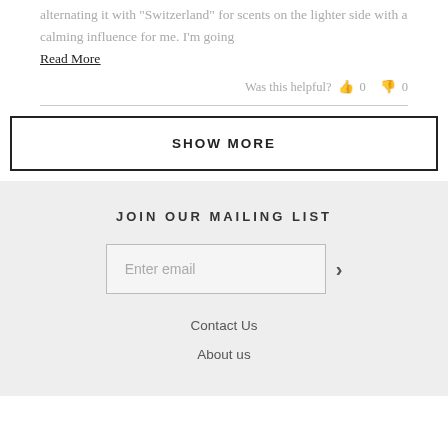alternating it with “Switzerland” for scents on the lighter side with a calming influence for me. I’m going
Read More
Was this helpful? 👍 0 👎 0
SHOW MORE
JOIN OUR MAILING LIST
Enter email
Contact Us
About us